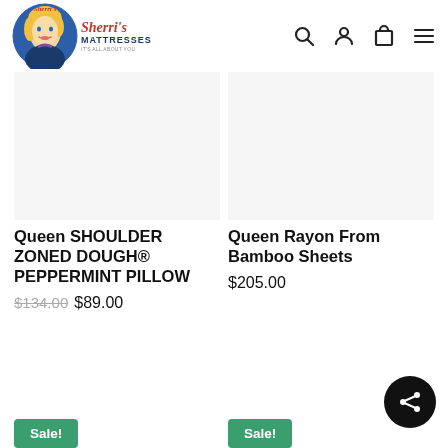[Figure (logo): Sherri's Mattresses logo with illustrated blonde woman in blue circle and text]
Queen SHOULDER ZONED DOUGH® PEPPERMINT PILLOW
$134.00 $89.00
Sale!
Queen Rayon From Bamboo Sheets
$205.00
Sale!